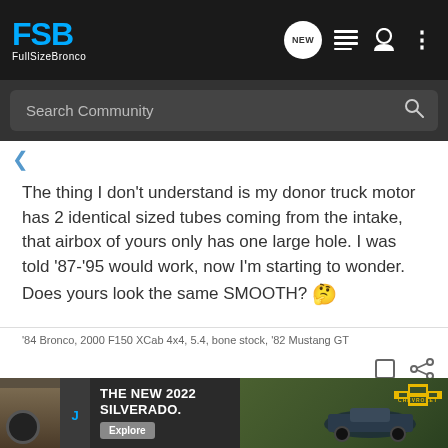FSB FullSizeBronco — navigation bar with search
The thing I don't understand is my donor truck motor has 2 identical sized tubes coming from the intake, that airbox of yours only has one large hole. I was told '87-'95 would work, now I'm starting to wonder. Does yours look the same SMOOTH? 🤔
'84 Bronco, 2000 F150 XCab 4x4, 5.4, bone stock, '82 Mustang GT
[Figure (screenshot): Advertisement banner: THE NEW 2022 SILVERADO. Explore — Chevrolet logo, truck image on green background, partial next post thumbnail]